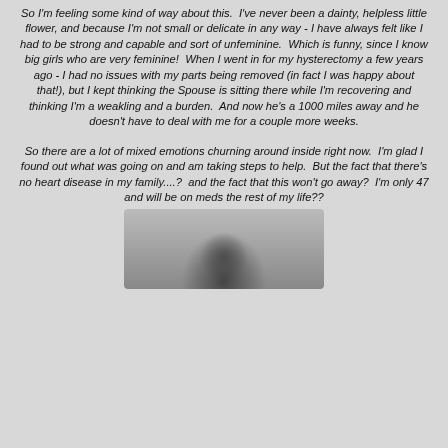So I'm feeling some kind of way about this. I've never been a dainty, helpless little flower, and because I'm not small or delicate in any way - I have always felt like I had to be strong and capable and sort of unfeminine. Which is funny, since I know big girls who are very feminine! When I went in for my hysterectomy a few years ago - I had no issues with my parts being removed (in fact I was happy about that!), but I kept thinking the Spouse is sitting there while I'm recovering and thinking I'm a weakling and a burden. And now he's a 1000 miles away and he doesn't have to deal with me for a couple more weeks.
So there are a lot of mixed emotions churning around inside right now. I'm glad I found out what was going on and am taking steps to help. But the fact that there's no heart disease in my family....? and the fact that this won't go away? I'm only 47 and will be on meds the rest of my life??
[Figure (photo): Black and white photo of a person, partially visible at the bottom of the page]